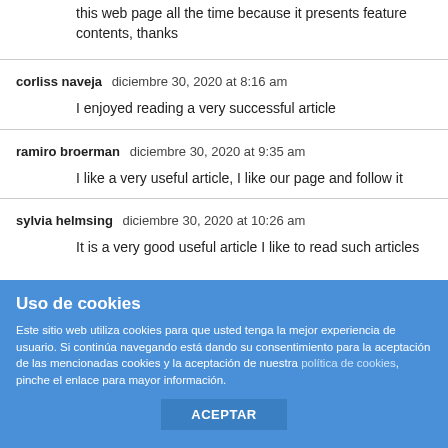this web page all the time because it presents feature contents, thanks
corliss naveja   diciembre 30, 2020 at 8:16 am

I enjoyed reading a very successful article
ramiro broerman   diciembre 30, 2020 at 9:35 am

I like a very useful article, I like our page and follow it
sylvia helmsing   diciembre 30, 2020 at 10:26 am

It is a very good useful article I like to read such articles
Uso de cookies

Este sitio web utiliza cookies para que usted tenga la mejor experiencia de usuario. Si continúa navegando está dando su consentimiento para la aceptación de las mencionadas cookies y la aceptación de nuestra política de cookies, pinche el enlace para mayor información.

ACEPTAR